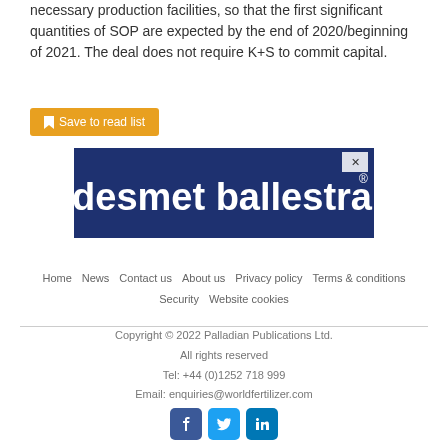necessary production facilities, so that the first significant quantities of SOP are expected by the end of 2020/beginning of 2021. The deal does not require K+S to commit capital.
[Figure (other): Orange 'Save to read list' button with bookmark icon]
[Figure (other): Desmet Ballestra advertisement banner — dark blue background with white bold text 'desmet ballestra' and a superscript registered trademark symbol, with a small X close button in top right corner]
Home  News  Contact us  About us  Privacy policy  Terms & conditions  Security  Website cookies
Copyright © 2022 Palladian Publications Ltd.
All rights reserved
Tel: +44 (0)1252 718 999
Email: enquiries@worldfertilizer.com
[Figure (other): Social media icons: Facebook (blue), Twitter (light blue), LinkedIn (dark blue)]